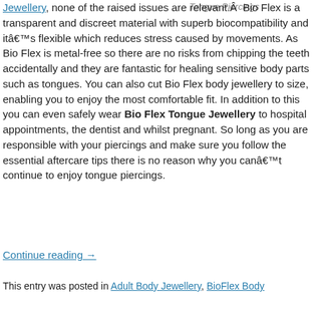Tongue Piercings
Jewellery, none of the raised issues are relevant.Â  Bio Flex is a transparent and discreet material with superb biocompatibility and itâ€™s flexible which reduces stress caused by movements. As Bio Flex is metal-free so there are no risks from chipping the teeth accidentally and they are fantastic for healing sensitive body parts such as tongues. You can also cut Bio Flex body jewellery to size, enabling you to enjoy the most comfortable fit. In addition to this you can even safely wear Bio Flex Tongue Jewellery to hospital appointments, the dentist and whilst pregnant. So long as you are responsible with your piercings and make sure you follow the essential aftercare tips there is no reason why you canâ€™t continue to enjoy tongue piercings.
Continue reading →
This entry was posted in Adult Body Jewellery, BioFlex Body